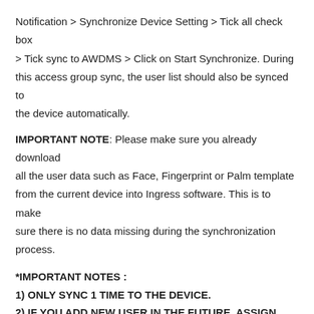Notification > Synchronize Device Setting > Tick all check box > Tick sync to AWDMS > Click on Start Synchronize. During this access group sync, the user list should also be synced to the device automatically.
IMPORTANT NOTE: Please make sure you already download all the user data such as Face, Fingerprint or Palm template from the current device into Ingress software. This is to make sure there is no data missing during the synchronization process.
*IMPORTANT NOTES :
1) ONLY SYNC 1 TIME TO THE DEVICE.
2) IF YOU ADD NEW USER IN THE FUTURE, ASSIGN USER TO EXISTING ACCESS
LEVEL AND USE UPLOAD FUNCTION TO UPLOAD